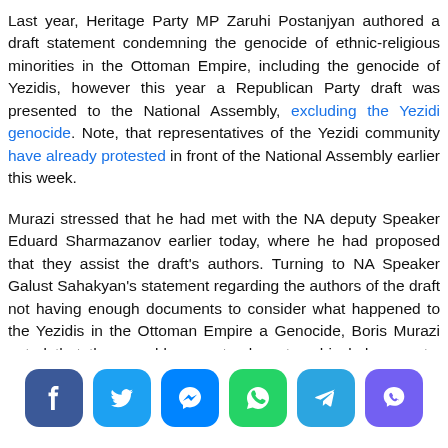Last year, Heritage Party MP Zaruhi Postanjyan authored a draft statement condemning the genocide of ethnic-religious minorities in the Ottoman Empire, including the genocide of Yezidis, however this year a Republican Party draft was presented to the National Assembly, excluding the Yezidi genocide. Note, that representatives of the Yezidi community have already protested in front of the National Assembly earlier this week.
Murazi stressed that he had met with the NA deputy Speaker Eduard Sharmazanov earlier today, where he had proposed that they assist the draft's authors. Turning to NA Speaker Galust Sahakyan's statement regarding the authors of the draft not having enough documents to consider what happened to the Yezidis in the Ottoman Empire a Genocide, Boris Murazi noted that they would present relevant archival documents. According to the community representative, the issue of the current Yezidi Genocide in Iraq was not raised in the NA either, despite the fact of there being multiple facts, testimonies, as well as statements by Armenian officials...
[Figure (infographic): Social share buttons: Facebook, Twitter, Messenger, WhatsApp, Telegram, Viber]